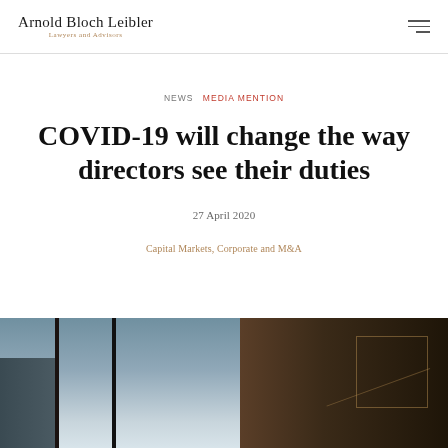Arnold Bloch Leibler — Lawyers and Advisors
NEWS   MEDIA MENTION
COVID-19 will change the way directors see their duties
27 April 2020
Capital Markets, Corporate and M&A
[Figure (photo): View through office window frames showing city skyline with clouds on left and dark interior/door on right]